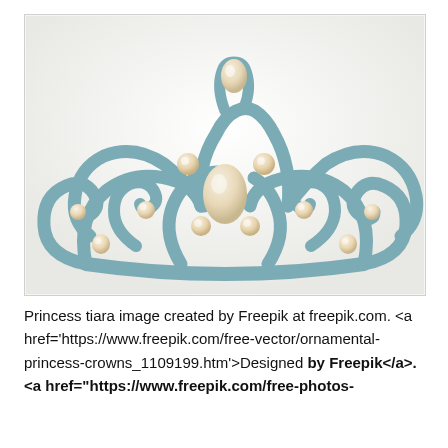[Figure (illustration): A decorative princess tiara illustration with a light teal/steel blue scrollwork design and pearl-like oval gemstones. The crown features ornate swirling filigree arches, with a large central pearl, smaller pearls at the sides and top, and a curved base band. The background is a light off-white gradient.]
Princess tiara image created by Freepik at freepik.com. <a href='https://www.freepik.com/free-vector/ornamental-princess-crowns_1109199.htm'>Designed by Freepik</a>. <a href="https://www.freepik.com/free-photos-